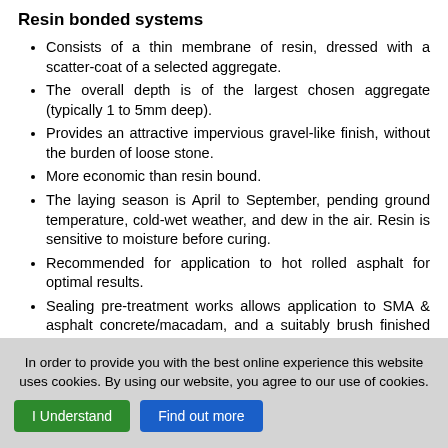Resin bonded systems
Consists of a thin membrane of resin, dressed with a scatter-coat of a selected aggregate.
The overall depth is of the largest chosen aggregate (typically 1 to 5mm deep).
Provides an attractive impervious gravel-like finish, without the burden of loose stone.
More economic than resin bound.
The laying season is April to September, pending ground temperature, cold-wet weather, and dew in the air. Resin is sensitive to moisture before curing.
Recommended for application to hot rolled asphalt for optimal results.
Sealing pre-treatment works allows application to SMA & asphalt concrete/macadam, and a suitably brush finished concrete requires a primer.
Typical Itemisation:
Supply and lay Cold Applied Resin Bonded Decorative Surface with...
In order to provide you with the best online experience this website uses cookies. By using our website, you agree to our use of cookies.